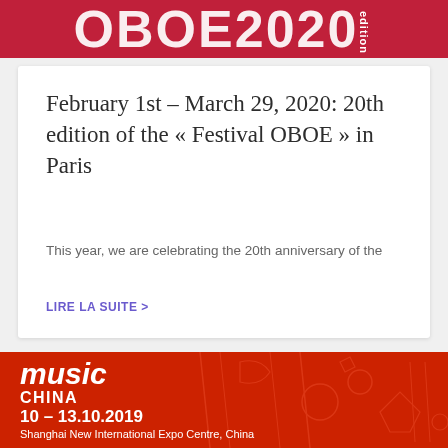[Figure (other): Red banner with white bold text showing 'OBOE 2020' in large letters and 'edition' vertically on right side]
February 1st – March 29, 2020: 20th edition of the « Festival OBOE » in Paris
This year, we are celebrating the 20th anniversary of the
LIRE LA SUITE >
[Figure (other): Red banner for Music China event with text: music, CHINA, 10 – 13.10.2019, Shanghai New International Expo Centre, China]